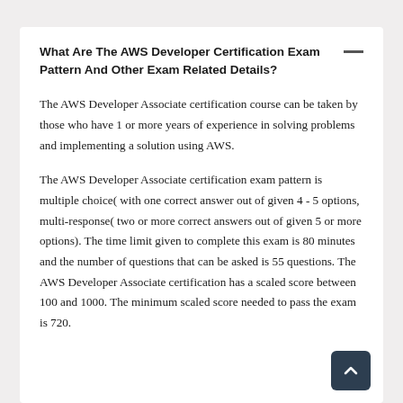What Are The AWS Developer Certification Exam Pattern And Other Exam Related Details?
The AWS Developer Associate certification course can be taken by those who have 1 or more years of experience in solving problems and implementing a solution using AWS.
The AWS Developer Associate certification exam pattern is multiple choice( with one correct answer out of given 4 - 5 options, multi-response( two or more correct answers out of given 5 or more options). The time limit given to complete this exam is 80 minutes and the number of questions that can be asked is 55 questions. The AWS Developer Associate certification has a scaled score between 100 and 1000. The minimum scaled score needed to pass the exam is 720.